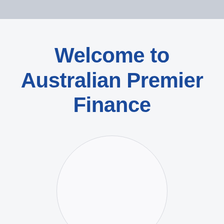Welcome to Australian Premier Finance
[Figure (illustration): A large light circle (empty/placeholder) centered in the lower half of the page]